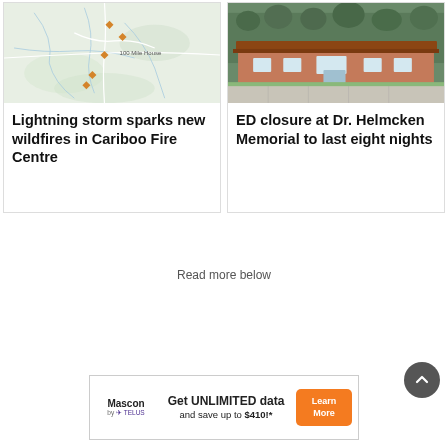[Figure (map): Map showing fire locations near 100 Mile House in the Cariboo region with orange diamond markers indicating wildfire locations]
Lightning storm sparks new wildfires in Cariboo Fire Centre
[Figure (photo): Photo of Dr. Helmcken Memorial hospital building, a low-profile ranch-style building with trees in background and parking lot in front]
ED closure at Dr. Helmcken Memorial to last eight nights
Read more below
[Figure (infographic): Mascon by TELUS advertisement: Get UNLIMITED data and save up to $410!* with Learn More button]